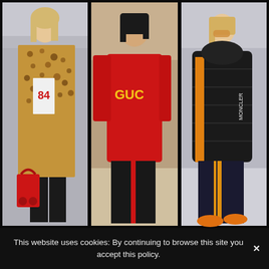[Figure (photo): Three fashion street-style photos side by side: (1) woman in leopard print coat over white graphic tee with '84' text, black pants, holding red Gucci tote bag; (2) woman in red Gucci logo hoodie with black track pants with red stripe; (3) woman in black Moncler puffer jacket over orange hoodie and navy track pants with yellow stripes, wearing orange shoes and tinted sunglasses.]
This website uses cookies: By continuing to browse this site you accept this policy. ✕